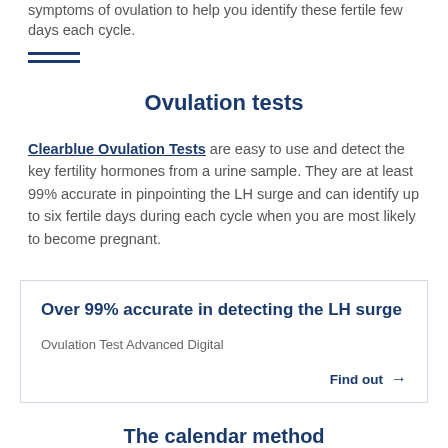symptoms of ovulation to help you identify these fertile few days each cycle.
Ovulation tests
Clearblue Ovulation Tests are easy to use and detect the key fertility hormones from a urine sample. They are at least 99% accurate in pinpointing the LH surge and can identify up to six fertile days during each cycle when you are most likely to become pregnant.
Over 99% accurate in detecting the LH surge
Ovulation Test Advanced Digital
Find out →
The calendar method